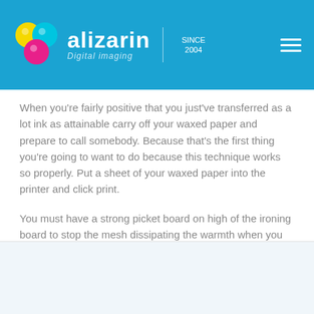alizarin Digital imaging | SINCE 2004
When you're fairly positive that you just've transferred as a lot ink as attainable carry off your waxed paper and prepare to call somebody. Because that's the first thing you're going to want to do because this technique works so properly. Put a sheet of your waxed paper into the printer and click print.
You must have a strong picket board on high of the ironing board to stop the mesh dissipating the warmth when you apply the transfer. If the transfer was done to clothes, turn the article of clothes inside out before you wash it. This provides slightly bit extra safety to your transferred on image. The extra care you take with washing and drying, the longer your shirt will last. Hold the iron on prime of the transfer as a substitute of constantly transferring.
Chat Online